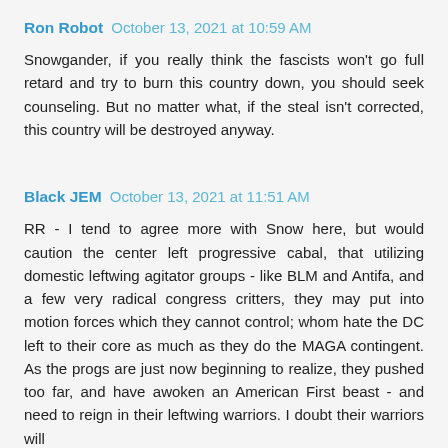Ron Robot  October 13, 2021 at 10:59 AM
Snowgander, if you really think the fascists won't go full retard and try to burn this country down, you should seek counseling. But no matter what, if the steal isn't corrected, this country will be destroyed anyway.
Black JEM  October 13, 2021 at 11:51 AM
RR - I tend to agree more with Snow here, but would caution the center left progressive cabal, that utilizing domestic leftwing agitator groups - like BLM and Antifa, and a few very radical congress critters, they may put into motion forces which they cannot control; whom hate the DC left to their core as much as they do the MAGA contingent. As the progs are just now beginning to realize, they pushed too far, and have awoken an American First beast - and need to reign in their leftwing warriors. I doubt their warriors will